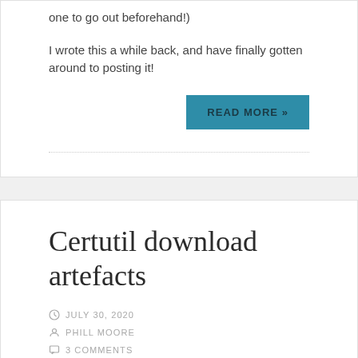one to go out beforehand!)
I wrote this a while back, and have finally gotten around to posting it!
READ MORE »
Certutil download artefacts
JULY 30, 2020
PHILL MOORE
3 COMMENTS